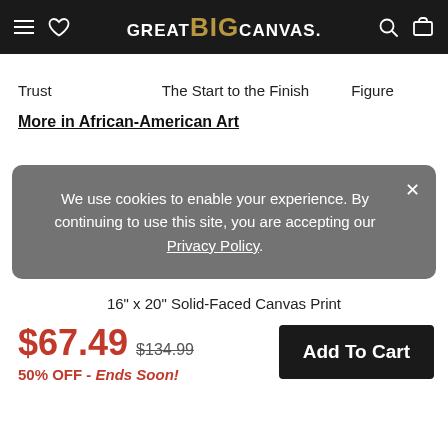GREAT BIG CANVAS.
Trust    The Start to the Finish    Figure
More in African-American Art
We use cookies to enable your experience. By continuing to use this site, you are accepting our Privacy Policy.
16" x 20" Solid-Faced Canvas Print
$67.49   $134.99   50% OFF - Ends Soon!
Add To Cart